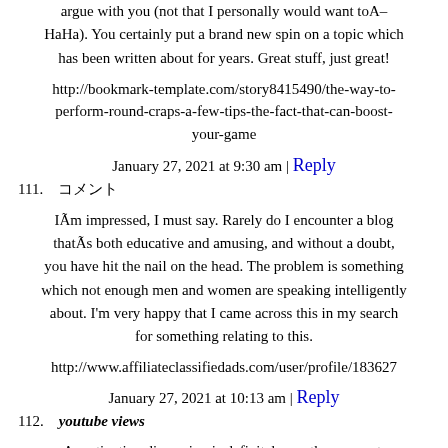argue with you (not that I personally would want toA–HaHa). You certainly put a brand new spin on a topic which has been written about for years. Great stuff, just great!
http://bookmark-template.com/story8415490/the-way-to-perform-round-craps-a-few-tips-the-fact-that-can-boost-your-game
January 27, 2021 at 9:30 am | Reply
111.  コメント
IÃm impressed, I must say. Rarely do I encounter a blog thatÃs both educative and amusing, and without a doubt, you have hit the nail on the head. The problem is something which not enough men and women are speaking intelligently about. I'm very happy that I came across this in my search for something relating to this.
http://www.affiliateclassifiedads.com/user/profile/183627
January 27, 2021 at 10:13 am | Reply
112.  youtube views
A motivating discussion is definitely worth comment. I do think that you should publish more about this issue, it might not be a